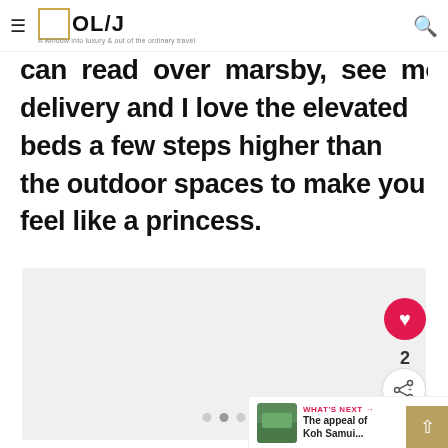OL/J — A window into luxury & out of the ordinary travel
...can read over marsby, see modern m delivery and I love the elevated beds a few steps higher than the outdoor spaces to make you feel like a princess.
[Figure (photo): Light grey image placeholder area with carousel dots below]
WHAT'S NEXT → The appeal of Koh Samui...